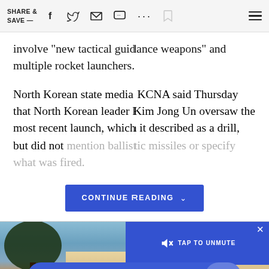SHARE & SAVE —
involve "new tactical guidance weapons" and multiple rocket launchers.
North Korean state media KCNA said Thursday that North Korean leader Kim Jong Un oversaw the most recent launch, which it described as a drill, but did not mention ballistic missiles or specify what was fired.
[Figure (screenshot): Blue 'CONTINUE READING' button with chevron]
[Figure (screenshot): Bottom portion showing a house photo with a video overlay showing a blue 'TAP TO UNMUTE' bar with speaker icon and X close button, and a blue pill-shaped 'Open in the NBC News app' banner at the bottom with an X button]